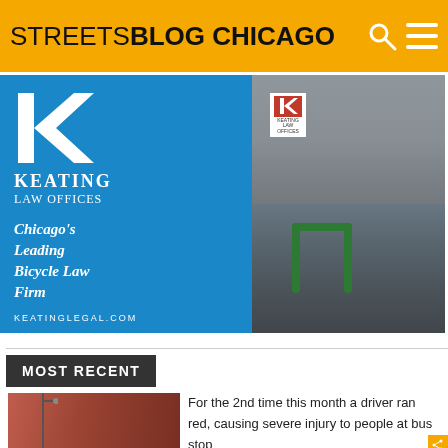STREETSBLOG CHICAGO
[Figure (photo): Advertisement for Keating Law Offices — Chicago's Leading Bicycle Law Firm. Features the firm's white K logo on blue background alongside a photo of three attorneys standing outside the office with a green bike rack. Website: keatinglegal.com]
MOST RECENT
[Figure (photo): Thumbnail photo of a city street with brick buildings]
For the 2nd time this month a driver ran red, causing severe injury to people at bus stop